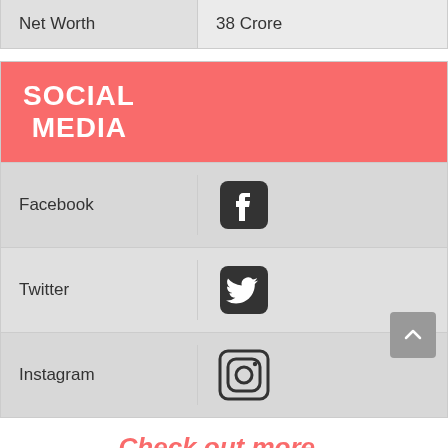| Net Worth | 38 Crore |
| --- | --- |
| SOCIAL MEDIA |  |
| --- | --- |
| Facebook | [Facebook icon] |
| Twitter | [Twitter icon] |
| Instagram | [Instagram icon] |
Check out more..
[Figure (photo): Two women posing together, photo cropped at bottom of page]